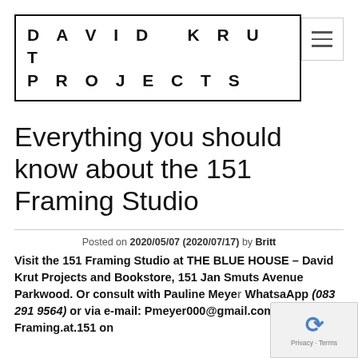DAVID KRUT PROJECTS
Everything you should know about the 151 Framing Studio
Posted on 2020/05/07 (2020/07/17) by Britt
Visit the 151 Framing Studio at THE BLUE HOUSE – David Krut Projects and Bookstore, 151 Jan Smuts Avenue Parkwood. Or consult with Pauline Meyer WhatsaApp (083 291 9564) or via e-mail: Pmeyer000@gmail.com. Follow Framing.at.151 on...